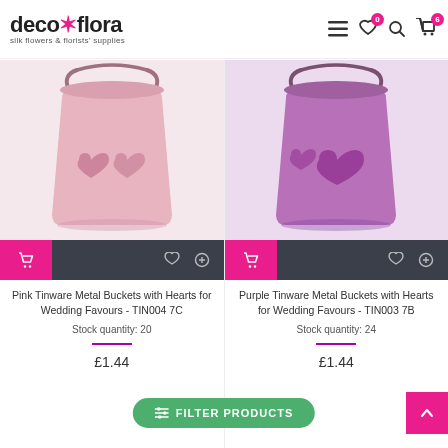decoflora – silk flowers & florists' supplies
[Figure (photo): Pink metal bucket with heart cut-outs and a handle, for wedding favours]
[Figure (photo): Purple metal bucket with heart cut-outs and a handle, for wedding favours]
Pink Tinware Metal Buckets with Hearts for Wedding Favours - TIN004 7C
Stock quantity: 20
£1.44
Purple Tinware Metal Buckets with Hearts for Wedding Favours - TIN003 7B
Stock quantity: 24
£1.44